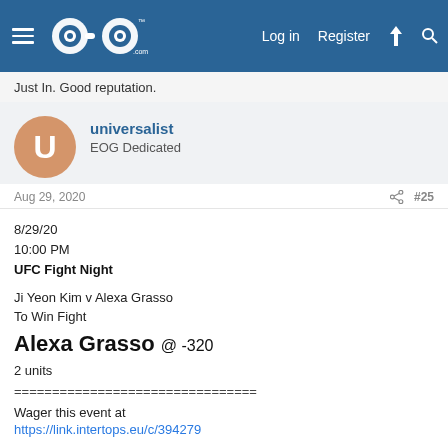EOG Sports | Log in | Register
Just In. Good reputation.
universalist
EOG Dedicated
Aug 29, 2020  #25
8/29/20
10:00 PM
UFC Fight Night

Ji Yeon Kim v Alexa Grasso
To Win Fight
Alexa Grasso @ -320
2 units
================================

Wager this event at
https://link.intertops.eu/c/394279